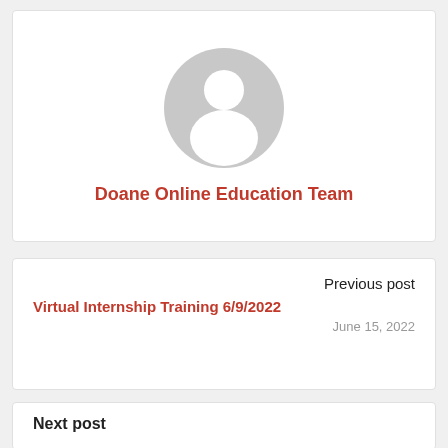[Figure (illustration): Generic user avatar placeholder — a grey circle with a white silhouette of a person (head and shoulders)]
Doane Online Education Team
Previous post
Virtual Internship Training 6/9/2022
June 15, 2022
Next post